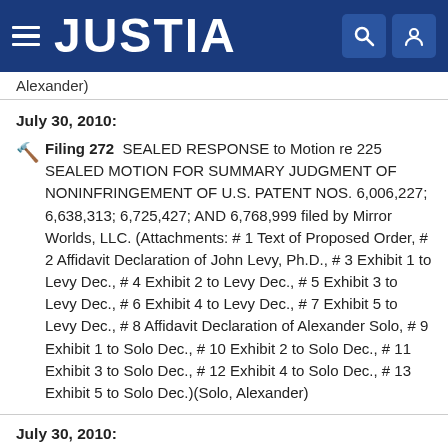JUSTIA
Alexander)
July 30, 2010: Filing 272 SEALED RESPONSE to Motion re 225 SEALED MOTION FOR SUMMARY JUDGMENT OF NONINFRINGEMENT OF U.S. PATENT NOS. 6,006,227; 6,638,313; 6,725,427; AND 6,768,999 filed by Mirror Worlds, LLC. (Attachments: # 1 Text of Proposed Order, # 2 Affidavit Declaration of John Levy, Ph.D., # 3 Exhibit 1 to Levy Dec., # 4 Exhibit 2 to Levy Dec., # 5 Exhibit 3 to Levy Dec., # 6 Exhibit 4 to Levy Dec., # 7 Exhibit 5 to Levy Dec., # 8 Affidavit Declaration of Alexander Solo, # 9 Exhibit 1 to Solo Dec., # 10 Exhibit 2 to Solo Dec., # 11 Exhibit 3 to Solo Dec., # 12 Exhibit 4 to Solo Dec., # 13 Exhibit 5 to Solo Dec.)(Solo, Alexander)
July 30, 2010: